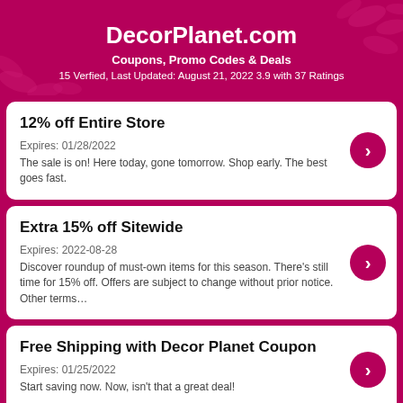DecorPlanet.com
Coupons, Promo Codes & Deals
15 Verfied, Last Updated: August 21, 2022 3.9 with 37 Ratings
12% off Entire Store
Expires: 01/28/2022
The sale is on! Here today, gone tomorrow. Shop early. The best goes fast.
Extra 15% off Sitewide
Expires: 2022-08-28
Discover roundup of must-own items for this season. There's still time for 15% off. Offers are subject to change without prior notice. Other terms…
Free Shipping with Decor Planet Coupon
Expires: 01/25/2022
Start saving now. Now, isn't that a great deal!